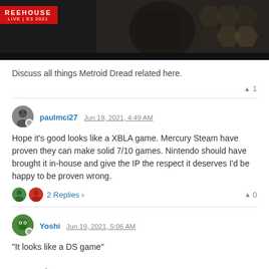[Figure (screenshot): Nintendo Treehouse Live E3 2021 banner showing Metroid Dread imagery with a red badge in top-left corner reading TREEHOUSE LIVE | E3 2021]
Discuss all things Metroid Dread related here.
▲ 1
paulmci27 Jun 19, 2021, 4:49 AM

Hope it's good looks like a XBLA game. Mercury Steam have proven they can make solid 7/10 games. Nintendo should have brought it in-house and give the IP the respect it deserves I'd be happy to be proven wrong.

2 Replies › ▲ 0
Yoshi Jun 19, 2021, 5:06 AM

"It looks like a DS game"

An actual DS game.